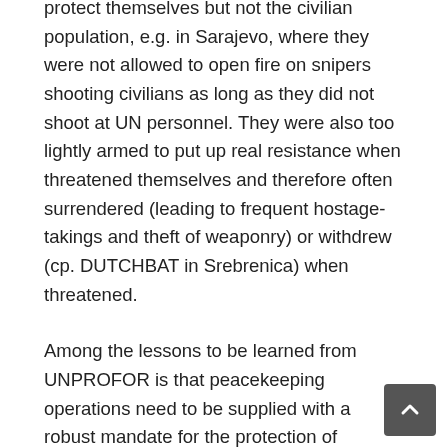protect themselves but not the civilian population, e.g. in Sarajevo, where they were not allowed to open fire on snipers shooting civilians as long as they did not shoot at UN personnel. They were also too lightly armed to put up real resistance when threatened themselves and therefore often surrendered (leading to frequent hostage-takings and theft of weaponry) or withdrew (cp. DUTCHBAT in Srebrenica) when threatened.
Among the lessons to be learned from UNPROFOR is that peacekeeping operations need to be supplied with a robust mandate for the protection of civilians and their own personnel and have the equipment and superior backup resources to respond to any challenges to security in their territory. When situations arise where the objective of neutrality in the conflict collides with